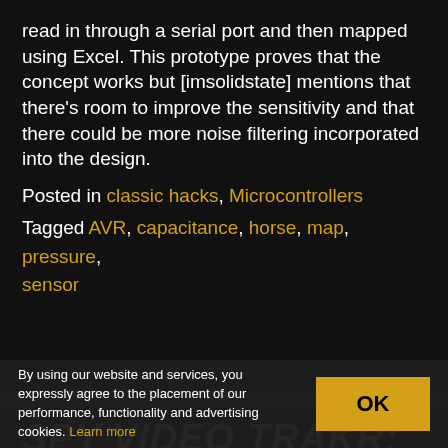read in through a serial port and then mapped using Excel. This prototype proves that the concept works but [imsolidstate] mentions that there's room to improve the sensitivity and that there could be more noise filtering incorporated into the design.
Posted in classic hacks, Microcontrollers
Tagged AVR, capacitance, horse, map, pressure, sensor
SPY VIDEO TRAKR:
By using our website and services, you expressly agree to the placement of our performance, functionality and advertising cookies. Learn more